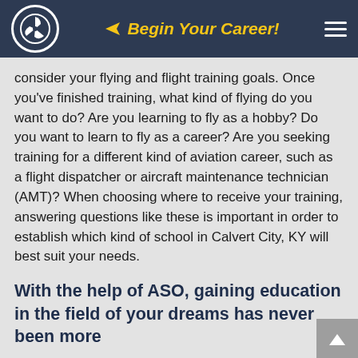Begin Your Career!
consider your flying and flight training goals. Once you've finished training, what kind of flying do you want to do? Are you learning to fly as a hobby? Do you want to learn to fly as a career? Are you seeking training for a different kind of aviation career, such as a flight dispatcher or aircraft maintenance technician (AMT)? When choosing where to receive your training, answering questions like these is important in order to establish which kind of school in Calvert City, KY will best suit your needs.
With the help of ASO, gaining education in the field of your dreams has never been more